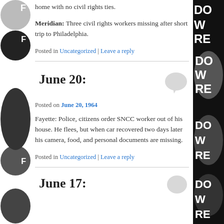home with no civil rights ties.
Meridian: Three civil rights workers missing after short trip to Philadelphia.
Posted in Uncategorized | Leave a reply
June 20:
Posted on June 20, 1964
Fayette: Police, citizens order SNCC worker out of his house. He flees, but when car recovered two days later his camera, food, and personal documents are missing.
Posted in Uncategorized | Leave a reply
June 17: